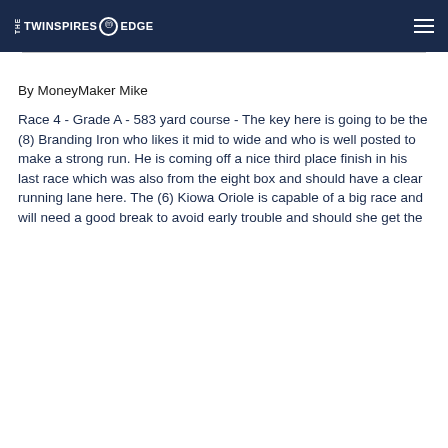THE TWINSPIRES EDGE
By MoneyMaker Mike
Race 4 - Grade A - 583 yard course - The key here is going to be the (8) Branding Iron who likes it mid to wide and who is well posted to make a strong run. He is coming off a nice third place finish in his last race which was also from the eight box and should have a clear running lane here. The (6) Kiowa Oriole is capable of a big race and will need a good break to avoid early trouble and should she get the